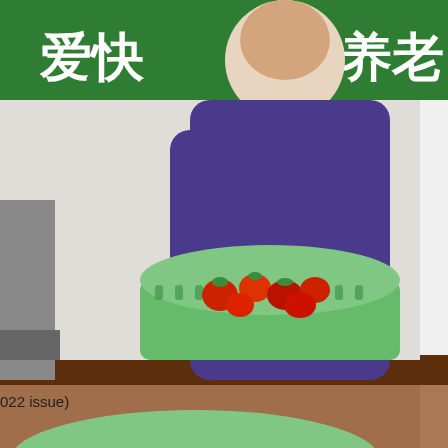[Figure (photo): A person in a purple jacket sorting fresh red strawberries in green plastic baskets on a brown table. A green board with Chinese characters is visible in the background. A Xinhua News Agency (新华社) watermark logo is visible in the bottom right of the photo.]
022 issue)